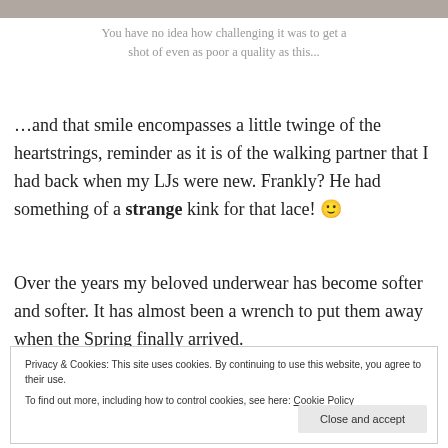[Figure (photo): Partial photo strip at top of page, cropped]
You have no idea how challenging it was to get a shot of even as poor a quality as this...
…and that smile encompasses a little twinge of the heartstrings, reminder as it is of the walking partner that I had back when my LJs were new. Frankly? He had something of a strange kink for that lace! 🙂
Over the years my beloved underwear has become softer and softer. It has almost been a wrench to put them away when the Spring finally arrived.
Privacy & Cookies: This site uses cookies. By continuing to use this website, you agree to their use.
To find out more, including how to control cookies, see here: Cookie Policy
[Close and accept]